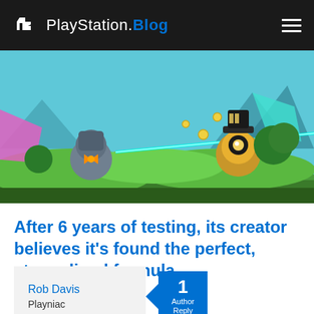PlayStation.Blog
[Figure (screenshot): Colorful video game scene with robot/cartoon characters on green terrain, featuring a cyan laser beam, floating coins, and vibrant environment with blue sky and geometric shapes.]
After 6 years of testing, its creator believes it's found the perfect, streamlined formula
Rob Davis
Playniac
1 Author Reply